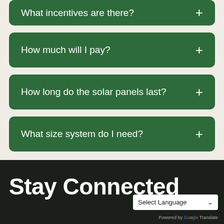What incentives are there?
How much will I pay?
How long do the solar panels last?
What size system do I need?
Stay Connected